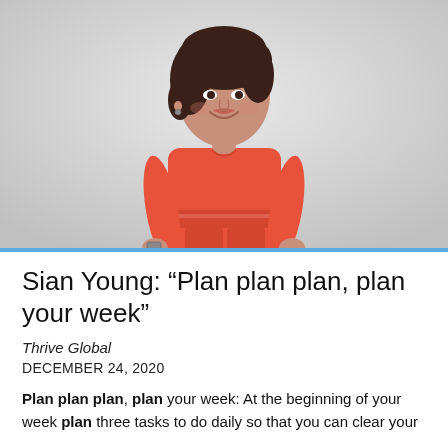[Figure (photo): Professional photo of a woman (Sian Young) wearing a red/coral dress, smiling, standing against a light grey background.]
Sian Young: “Plan plan plan, plan your week”
Thrive Global
DECEMBER 24, 2020
Plan plan plan, plan your week: At the beginning of your week plan three tasks to do daily so that you can clear your